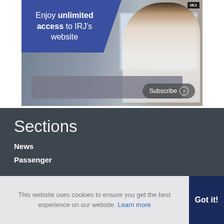[Figure (photo): Advertisement banner for International Railway Journal (IRJ) website subscription. Shows a woman on a train using a laptop and phone. Blue box overlay reads 'Enjoy unlimited access to IRJ's website'. Subscribe button in lower right. IRJ logo in top right corner.]
Sections
News
Passenger
This website uses cookies to ensure you get the best experience on our website. Learn more
Got it!